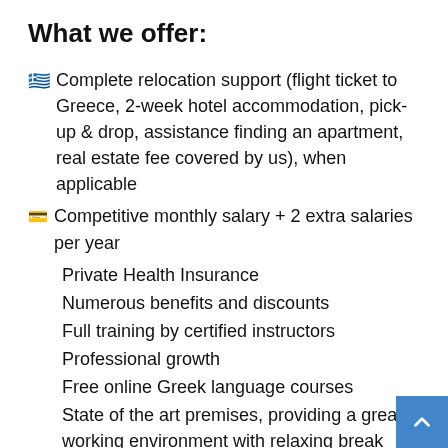What we offer:
Complete relocation support (flight ticket to Greece, 2-week hotel accommodation, pick-up & drop, assistance finding an apartment, real estate fee covered by us), when applicable
Competitive monthly salary + 2 extra salaries per year
Private Health Insurance
Numerous benefits and discounts
Full training by certified instructors
Professional growth
Free online Greek language courses
State of the art premises, providing a great working environment with relaxing break areas
Moreover, this is a great opportunity to advance your career